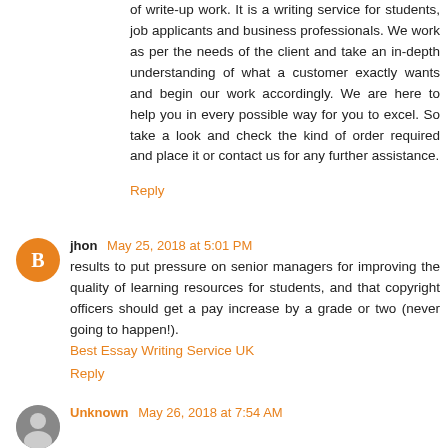of write-up work. It is a writing service for students, job applicants and business professionals. We work as per the needs of the client and take an in-depth understanding of what a customer exactly wants and begin our work accordingly. We are here to help you in every possible way for you to excel. So take a look and check the kind of order required and place it or contact us for any further assistance.
Reply
jhon May 25, 2018 at 5:01 PM
results to put pressure on senior managers for improving the quality of learning resources for students, and that copyright officers should get a pay increase by a grade or two (never going to happen!).
Best Essay Writing Service UK
Reply
Unknown May 26, 2018 at 7:54 AM